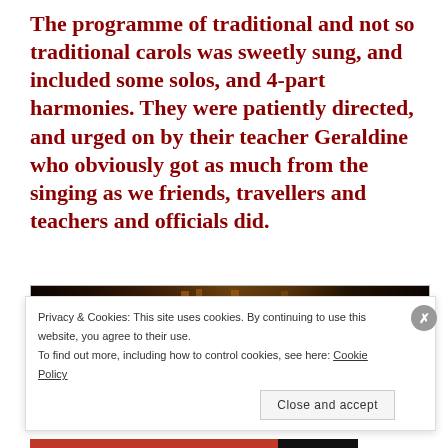The programme of traditional and not so traditional carols was sweetly sung, and included some solos, and 4-part harmonies. They were patiently directed, and urged on by their teacher Geraldine who obviously got as much from the singing as we friends, travellers and teachers and officials did.
[Figure (photo): Dark interior photo, warm orange-brown lighting suggesting a concert or performance venue]
Privacy & Cookies: This site uses cookies. By continuing to use this website, you agree to their use.
To find out more, including how to control cookies, see here: Cookie Policy
Close and accept